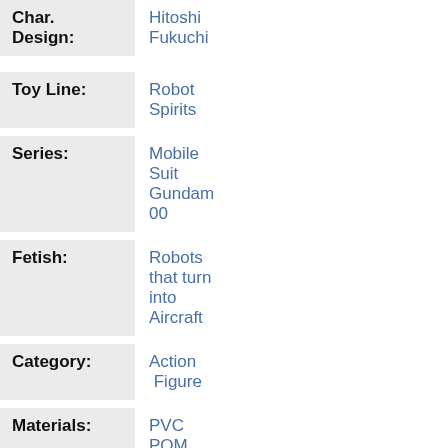| Field | Value |
| --- | --- |
| Char. Design: | Hitoshi Fukuchi |
| Toy Line: | Robot Spirits |
| Series: | Mobile Suit Gundam 00 |
| Fetish: | Robots that turn into Aircraft |
| Category: | Action Figure |
| Materials: | PVC POM |